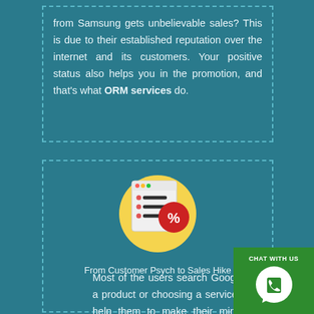from Samsung gets unbelievable sales? This is due to their established reputation over the internet and its customers. Your positive status also helps you in the promotion, and that's what ORM services do.
[Figure (illustration): Yellow circle with a browser/checklist icon and a red percentage tag badge]
From Customer Psych to Sales Hike
Most of the users search Google before buying a product or choosing a service. These reviews help them to make their mind before taking service.